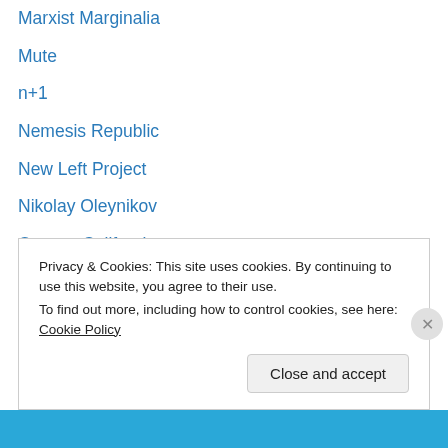Marxist Marginalia
Mute
n+1
Nemesis Republic
New Left Project
Nikolay Oleynikov
Occupy California
Occupy Everything
PLATFORM
Power, Money and People (Simon Pirani)
Prelom Kolektiv
RadioLabour
Reartikulaciia
Privacy & Cookies: This site uses cookies. By continuing to use this website, you agree to their use.
To find out more, including how to control cookies, see here: Cookie Policy
Close and accept